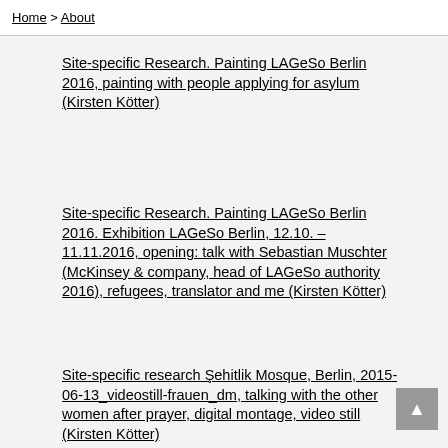Home > About
Site-specific Research. Painting LAGeSo Berlin 2016, painting with people applying for asylum (Kirsten Kötter)
Site-specific Research. Painting LAGeSo Berlin 2016. Exhibition LAGeSo Berlin, 12.10. – 11.11.2016, opening: talk with Sebastian Muschter (McKinsey & company, head of LAGeSo authority 2016), refugees, translator and me (Kirsten Kötter)
Site-specific research Şehitlik Mosque, Berlin, 2015-06-13_videostill-frauen_dm, talking with the other women after prayer, digital montage, video still (Kirsten Kötter)
Site-specific research Şehitlik Mosque, Berlin, talking with the girls before prayer, 2018 (Kirsten